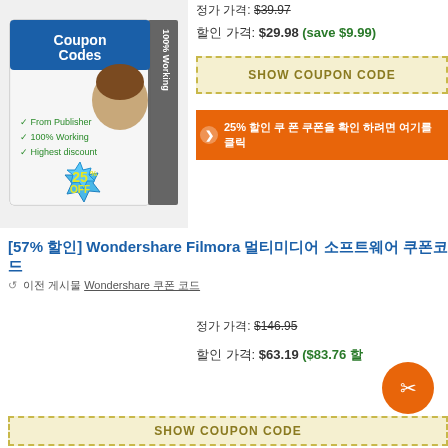[Figure (illustration): Software product box showing 'Coupon Codes 100% Working' with a woman wearing a hat, checkmarks listing 'From Publisher', '100% Working', 'Highest discount', and a blue starburst badge showing '25% OFF']
정가 가격: $39.97
할인 가격: $29.98 (save $9.99)
SHOW COUPON CODE
25% 할인 쿠 폰 쿠폰을 확인 하려면 여기를 클릭
[57% 할인] Wondershare Filmora 멀티미디어 소프트웨어 쿠폰코드
↺  이전 게시물 Wondershare 쿠폰 코드
정가 가격: $146.95
할인 가격: $63.19 ($83.76 할
SHOW COUPON CODE